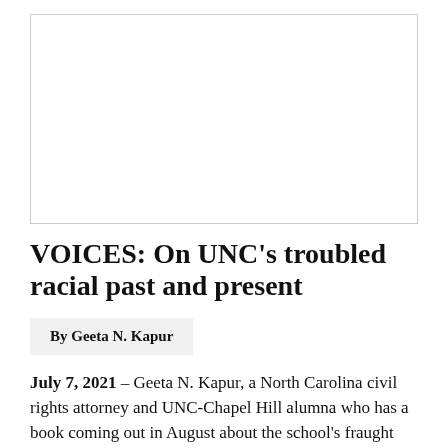[Figure (photo): Image placeholder area, white/blank with border]
VOICES: On UNC's troubled racial past and present
By Geeta N. Kapur
July 7, 2021 – Geeta N. Kapur, a North Carolina civil rights attorney and UNC-Chapel Hill alumna who has a book coming out in August about the school's fraught racial history, says it should come as no